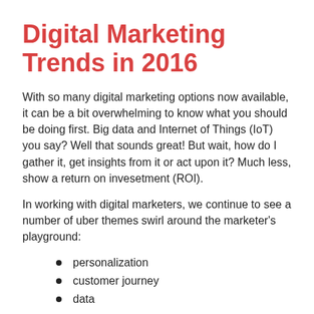Digital Marketing Trends in 2016
With so many digital marketing options now available, it can be a bit overwhelming to know what you should be doing first. Big data and Internet of Things (IoT) you say? Well that sounds great! But wait, how do I gather it, get insights from it or act upon it? Much less, show a return on invesetment (ROI).
In working with digital marketers, we continue to see a number of uber themes swirl around the marketer's playground:
personalization
customer journey
data
Within each of those themes, you may start to think about how you use digital analytics, optimization